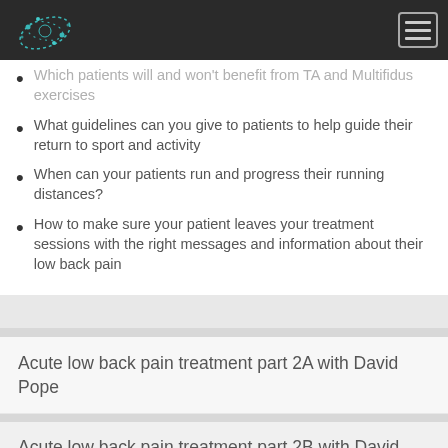Navigation bar with logo and hamburger menu
Which patients will and won't benefit from TA and Multifidus exercises
What guidelines can you give to patients to help guide their return to sport and activity
When can your patients run and progress their running distances?
How to make sure your patient leaves your treatment sessions with the right messages and information about their low back pain
Acute low back pain treatment part 2A with David Pope
Acute low back pain treatment part 2B with David Pope